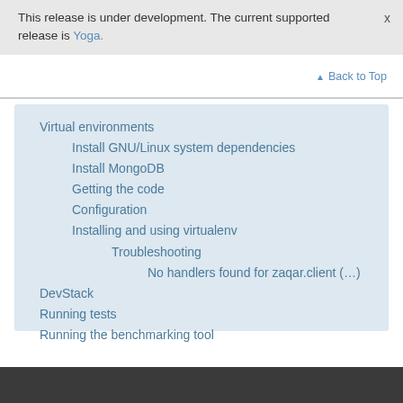This release is under development. The current supported release is Yoga.
Back to Top
Virtual environments
Install GNU/Linux system dependencies
Install MongoDB
Getting the code
Configuration
Installing and using virtualenv
Troubleshooting
No handlers found for zaqar.client (…)
DevStack
Running tests
Running the benchmarking tool
Contributing your work